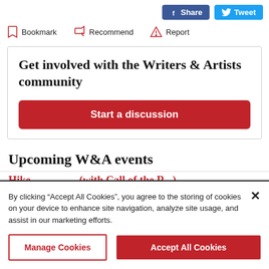Facebook Share | Twitter Tweet
Bookmark  Recommend  Report
Get involved with the Writers & Artists community
Start a discussion
Upcoming W&A events
Hike... (with Call of the R...)
By clicking “Accept All Cookies”, you agree to the storing of cookies on your device to enhance site navigation, analyze site usage, and assist in our marketing efforts.
Manage Cookies | Accept All Cookies